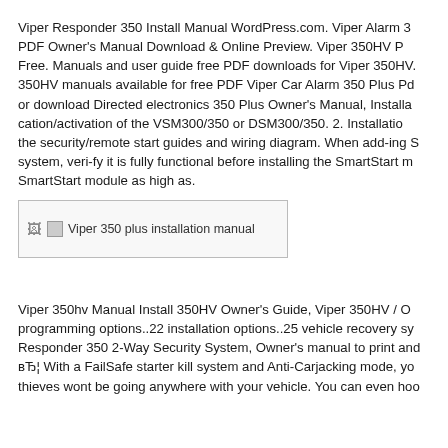Viper Responder 350 Install Manual WordPress.com. Viper Alarm 350 PDF Owner's Manual Download & Online Preview. Viper 350HV Pdf Free. Manuals and user guide free PDF downloads for Viper 350HV. 350HV manuals available for free PDF Viper Car Alarm 350 Plus Pdf or download Directed electronics 350 Plus Owner's Manual, Installation cation/activation of the VSM300/350 or DSM300/350. 2. Installation the security/remote start guides and wiring diagram. When add-ing S system, veri-fy it is fully functional before installing the SmartStart m SmartStart module as high as.
[Figure (photo): Viper 350 plus installation manual image placeholder]
Viper 350hv Manual Install 350HV Owner's Guide, Viper 350HV / O programming options..22 installation options..25 vehicle recovery sy Responder 350 2-Way Security System, Owner's manual to print and вЂ¦ With a FailSafe starter kill system and Anti-Carjacking mode, yo thieves wont be going anywhere with your vehicle. You can even hoo